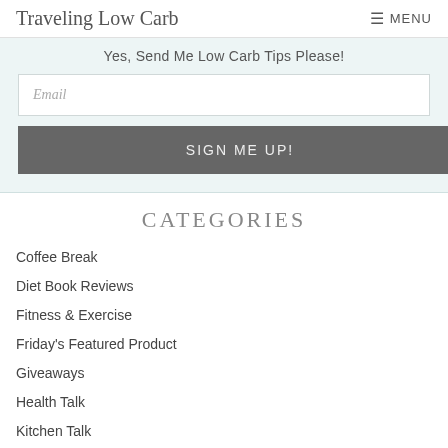Traveling Low Carb  MENU
Yes, Send Me Low Carb Tips Please!
Email
SIGN ME UP!
CATEGORIES
Coffee Break
Diet Book Reviews
Fitness & Exercise
Friday's Featured Product
Giveaways
Health Talk
Kitchen Talk